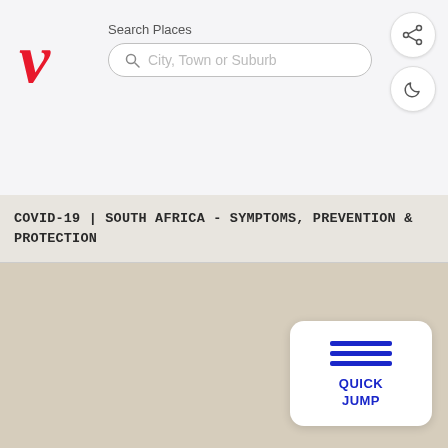[Figure (logo): Red italic V logo for Verbatim or similar service]
Search Places
City, Town or Suburb
COVID-19 | SOUTH AFRICA - SYMPTOMS, PREVENTION & PROTECTION
[Figure (other): Map area showing a beige/tan blank map background]
[Figure (infographic): Quick Jump button with three blue horizontal lines and label QUICK JUMP]